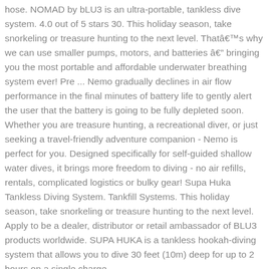hose. NOMAD by bLU3 is an ultra-portable, tankless dive system. 4.0 out of 5 stars 30. This holiday season, take snorkeling or treasure hunting to the next level. Thatâs why we can use smaller pumps, motors, and batteries â bringing you the most portable and affordable underwater breathing system ever! Pre ... Nemo gradually declines in air flow performance in the final minutes of battery life to gently alert the user that the battery is going to be fully depleted soon. Whether you are treasure hunting, a recreational diver, or just seeking a travel-friendly adventure companion - Nemo is perfect for you. Designed specifically for self-guided shallow water dives, it brings more freedom to diving - no air refills, rentals, complicated logistics or bulky gear! Supa Huka Tankless Diving System. Tankfill Systems. This holiday season, take snorkeling or treasure hunting to the next level. Apply to be a dealer, distributor or retail ambassador of BLU3 products worldwide. SUPA HUKA is a tankless hookah-diving system that allows you to dive 30 feet (10m) deep for up to 2 hours on a single charge.